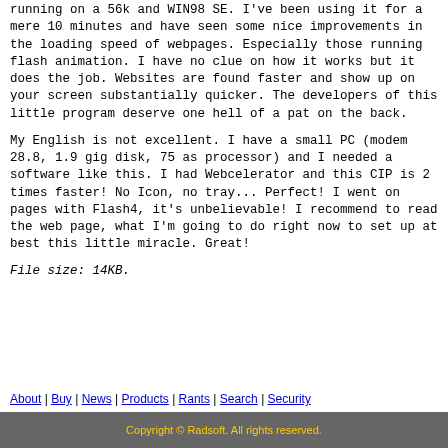running on a 56k and WIN98 SE. I've been using it for a mere 10 minutes and have seen some nice improvements in the loading speed of webpages. Especially those running flash animation. I have no clue on how it works but it does the job. Websites are found faster and show up on your screen substantially quicker. The developers of this little program deserve one hell of a pat on the back.
My English is not excellent. I have a small PC (modem 28.8, 1.9 gig disk, 75 as processor) and I needed a software like this. I had Webcelerator and this CIP is 2 times faster! No Icon, no tray... Perfect! I went on pages with Flash4, it's unbelievable! I recommend to read the web page, what I'm going to do right now to set up at best this little miracle. Great!
File size: 14KB.
About | Buy | News | Products | Rants | Search | Security
Copyright © Radsoft. All rights reserved.